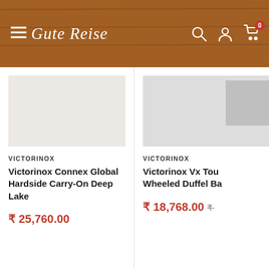Gute Reise
VICTORINOX
Victorinox Connex Global Hardside Carry-On Deep Lake
₹ 25,760.00
VICTORINOX
Victorinox Vx Touring Wheeled Duffel Ba…
₹ 18,768.00
Free delivery nationwide